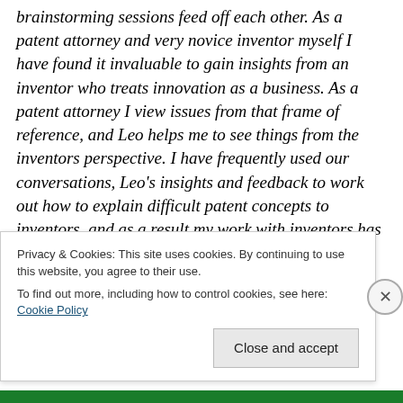brainstorming sessions feed off each other. As a patent attorney and very novice inventor myself I have found it invaluable to gain insights from an inventor who treats innovation as a business. As a patent attorney I view issues from that frame of reference, and Leo helps me to see things from the inventors perspective. I have frequently used our conversations, Leo’s insights and feedback to work out how to explain difficult patent concepts to inventors, and as a result my work with inventors has benefited, as well as my writing. In a sea of pretenders in this industry Leo is the real deal.”
Privacy & Cookies: This site uses cookies. By continuing to use this website, you agree to their use.
To find out more, including how to control cookies, see here: Cookie Policy